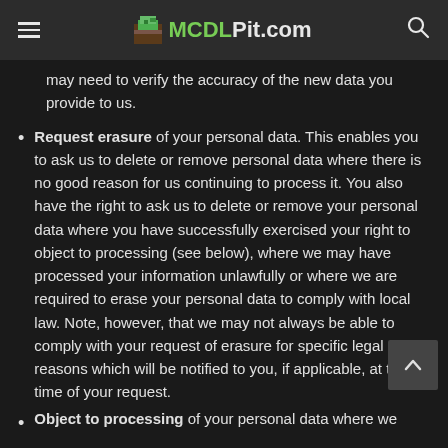MCDLPit.com
may need to verify the accuracy of the new data you provide to us.
Request erasure of your personal data. This enables you to ask us to delete or remove personal data where there is no good reason for us continuing to process it. You also have the right to ask us to delete or remove your personal data where you have successfully exercised your right to object to processing (see below), where we may have processed your information unlawfully or where we are required to erase your personal data to comply with local law. Note, however, that we may not always be able to comply with your request of erasure for specific legal reasons which will be notified to you, if applicable, at the time of your request.
Object to processing of your personal data where we